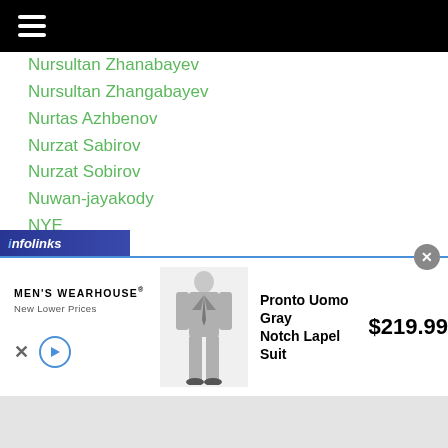≡
Nursultan Zhanabayev
Nursultan Zhangabayev
Nurtas Azhbenov
Nurzat Sabirov
Nurzat Sobirov
Nuwan-jayakody
NYE
Odds
Odiljon Aslonov
Officials
Ohashigym
Ohashi Gym
Ohashi Shop
Kwon
[Figure (screenshot): Advertisement banner: Men's Wearhouse - Pronto Uomo Gray Notch Lapel Suit $219.99]